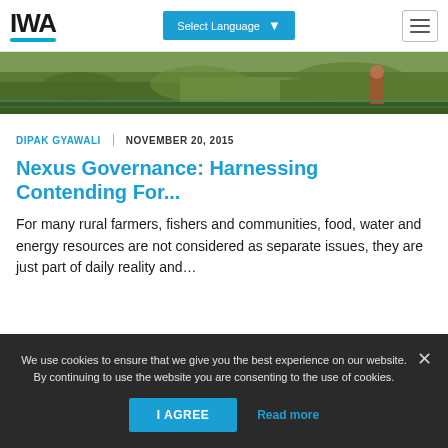IWA | Select Language
[Figure (photo): Outdoor scene showing rural farming environment with green vegetation and a person working in the field]
DIPAK GYAWALI   NOVEMBER 20, 2015
Nexus Governance: Harnessing Contending For...
For many rural farmers, fishers and communities, food, water and energy resources are not considered as separate issues, they are just part of daily reality and...
We use cookies to ensure that we give you the best experience on our website. By continuing to use the website you are consenting to the use of cookies. I AGREE  Read more